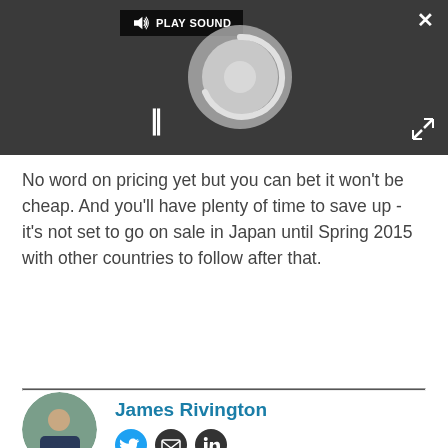[Figure (screenshot): Video/audio player widget with dark background, a spinner/loading circle, pause button (||), play sound label, close (X) button, and expand button.]
No word on pricing yet but you can bet it won't be cheap. And you'll have plenty of time to save up - it's not set to go on sale in Japan until Spring 2015 with other countries to follow after that.
James Rivington